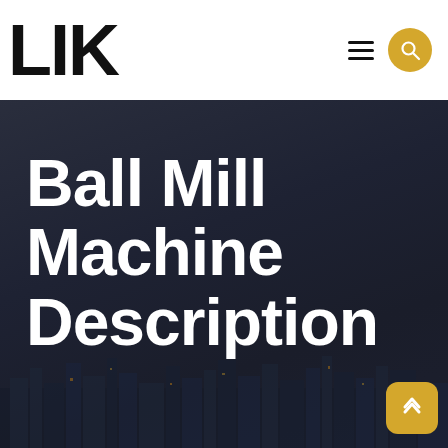LIK
Ball Mill Machine Description
[Figure (screenshot): Website header with logo 'LIK' in bold black, hamburger menu icon, and gold/yellow circular search button on white background. Below is a dark navy hero section with city skyline at night in the background, and large white bold text reading 'Ball Mill Machine Description'. A gold rounded-square scroll-up button is visible in the bottom right corner.]